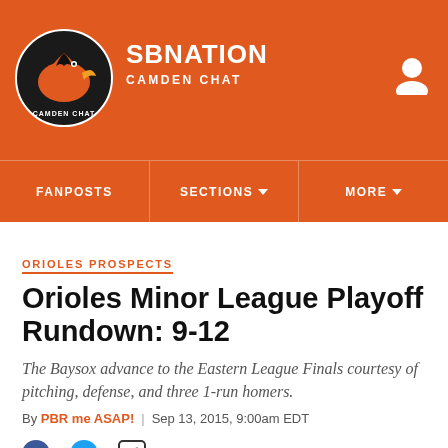SB NATION — CAMDEN CHAT
FANPOSTS | SECTIONS | MORE
ORIOLES PROSPECTS
Orioles Minor League Playoff Rundown: 9-12
The Baysox advance to the Eastern League Finals courtesy of pitching, defense, and three 1-run homers.
By PBR me ASAP! | Sep 13, 2015, 9:00am EDT